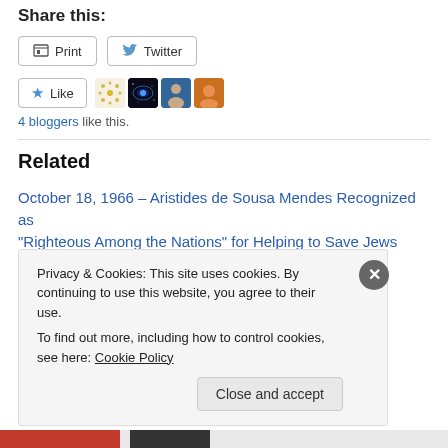Share this:
[Figure (other): Print and Twitter share buttons]
[Figure (other): Like button with 4 blogger avatars]
4 bloggers like this.
Related
October 18, 1966 – Aristides de Sousa Mendes Recognized as “Righteous Among the Nations” for Helping to Save Jews from the Holocaust
October 18, 2019
Privacy & Cookies: This site uses cookies. By continuing to use this website, you agree to their use.
To find out more, including how to control cookies, see here: Cookie Policy
Close and accept